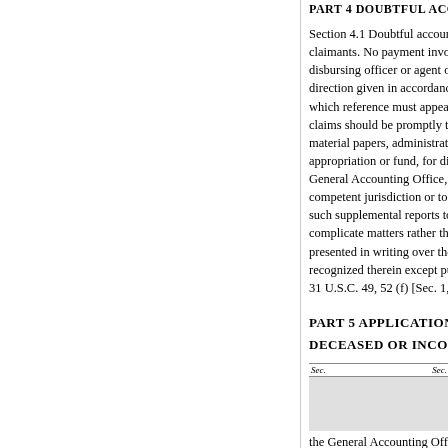PART 4 DOUBTFUL ACCOUNTS
Section 4.1 Doubtful accounts and claimants. No payment involving disbursing officer or agent of the direction given in accordance which reference must appear on claims should be promptly transmitted material papers, administrative re appropriation or fund, for direct s General Accounting Office, where competent jurisdiction or to the such supplemental reports to the complicate matters rather than ai presented in writing over the bond recognized therein except pursuant 31 U.S.C. 49, 52 (f) [Sec. 1, Reg
PART 5 APPLICATIONS FOR S
DECEASED OR INCOMPETENT
| Sec. | Sec. |
| --- | --- |
the General Accounting Office o